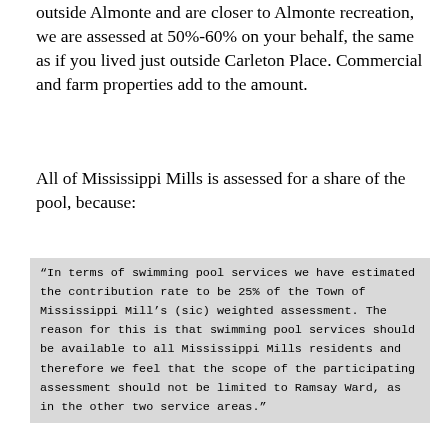outside Almonte and are closer to Almonte recreation, we are assessed at 50%-60% on your behalf, the same as if you lived just outside Carleton Place. Commercial and farm properties add to the amount.
All of Mississippi Mills is assessed for a share of the pool, because:
“In terms of swimming pool services we have estimated the contribution rate to be 25% of the Town of Mississippi Mill’s (sic) weighted assessment. The reason for this is that swimming pool services should be available to all Mississippi Mills residents and therefore we feel that the scope of the participating assessment should not be limited to Ramsay Ward, as in the other two service areas.”